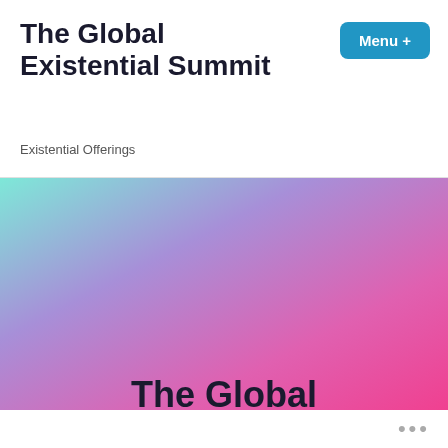The Global Existential Summit
Menu +
Existential Offerings
[Figure (illustration): Hero banner with gradient background (cyan, purple, pink) displaying large bold text: 'The Global Existential Summit Mission #1' and below '25 World Leading Existential Thinkers.']
...